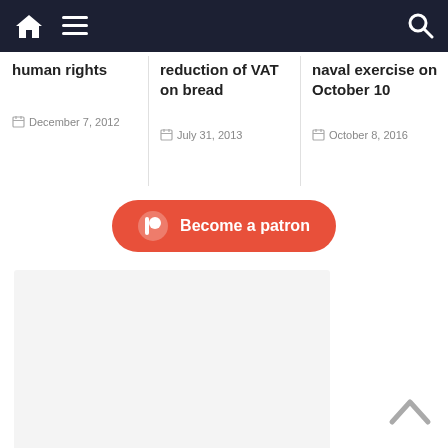Navigation bar with home, menu, and search icons
human rights
December 7, 2012
reduction of VAT on bread
July 31, 2013
naval exercise on October 10
October 8, 2016
Become a patron
[Figure (other): Gray placeholder content area]